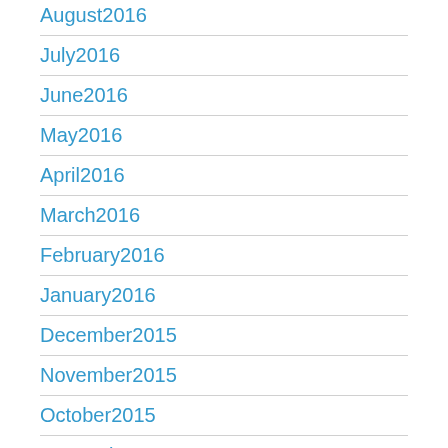August2016
July2016
June2016
May2016
April2016
March2016
February2016
January2016
December2015
November2015
October2015
September2015
August2015
May2015